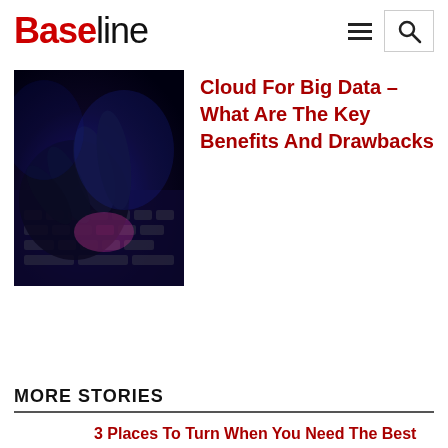Baseline
[Figure (photo): A hand typing on a keyboard with blue and purple lighting in a dark environment]
Cloud For Big Data – What Are The Key Benefits And Drawbacks
MORE STORIES
3 Places To Turn When You Need The Best And The Brightest Talent